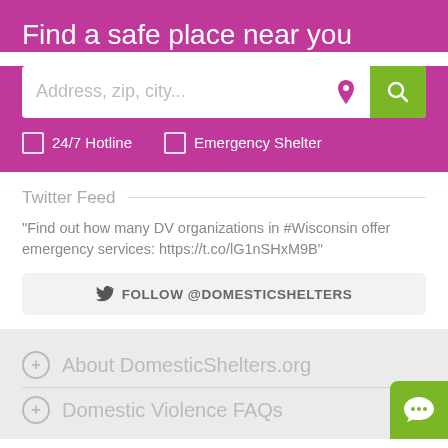Find a safe place near you
[Figure (screenshot): Search bar with placeholder 'Address, zip, city...', a pink map pin icon, and a green search button]
24/7 Hotline
Emergency Shelter
Twitter Feed
"Find out how many DV organizations in #Wisconsin offer emergency services: https://t.co/lG1nSHxM9B"
FOLLOW @DOMESTICSHELTERS
About DomesticShelters.org
Domestic Violence FAQs